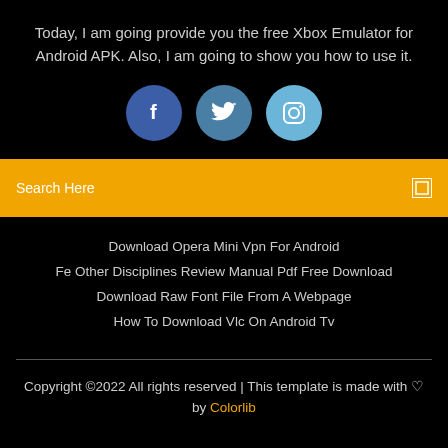Today, I am going provide you the free Xbox Emulator for Android APK. Also, I am going to show you how to use it.
[Figure (illustration): Three social media icons: Facebook (dark blue circle with 'f'), Twitter (medium blue circle with bird icon), Instagram (light blue circle with camera icon)]
Search Here
Download Opera Mini Vpn For Android
Fe Other Disciplines Review Manual Pdf Free Download
Download Raw Font File From A Webpage
How To Download Vlc On Android Tv
Copyright ©2022 All rights reserved | This template is made with ♡ by Colorlib